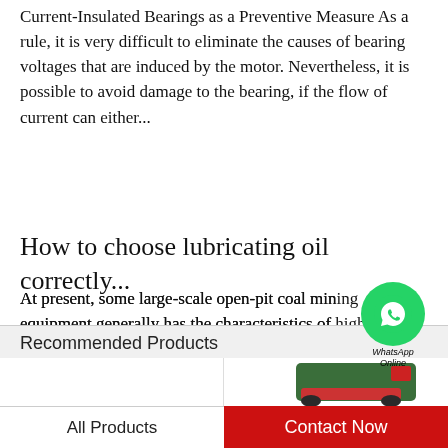Current-Insulated Bearings as a Preventive Measure As a rule, it is very difficult to eliminate the causes of bearing voltages that are induced by the motor. Nevertheless, it is possible to avoid damage to the bearing, if the flow of current can either...
How to choose lubricating oil correctly...
At present, some large-scale open-pit coal mining equipment generally has the characteristics of high production capacity, high automatic function, and high investment in single equipment. Therefore, based on these characteristics, if the equipment is...
Recommended Products
[Figure (photo): Product image showing a green and red power tool / grease equipment partially visible]
All Products    Contact Now